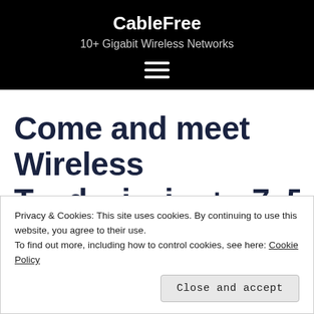CableFree
10+ Gigabit Wireless Networks
[Figure (other): Hamburger menu icon (three horizontal white lines on black background)]
Come and meet Wireless
Privacy & Cookies: This site uses cookies. By continuing to use this website, you agree to their use.
To find out more, including how to control cookies, see here: Cookie Policy
Close and accept